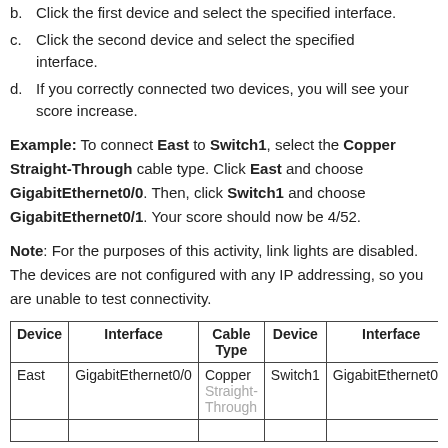b. Click the first device and select the specified interface.
c. Click the second device and select the specified interface.
d. If you correctly connected two devices, you will see your score increase.
Example: To connect East to Switch1, select the Copper Straight-Through cable type. Click East and choose GigabitEthernet0/0. Then, click Switch1 and choose GigabitEthernet0/1. Your score should now be 4/52.
Note: For the purposes of this activity, link lights are disabled. The devices are not configured with any IP addressing, so you are unable to test connectivity.
| Device | Interface | Cable Type | Device | Interface |
| --- | --- | --- | --- | --- |
| East | GigabitEthernet0/0 | Copper Straight-Through | Switch1 | GigabitEthernet0/1 |
|  |  |  |  |  |